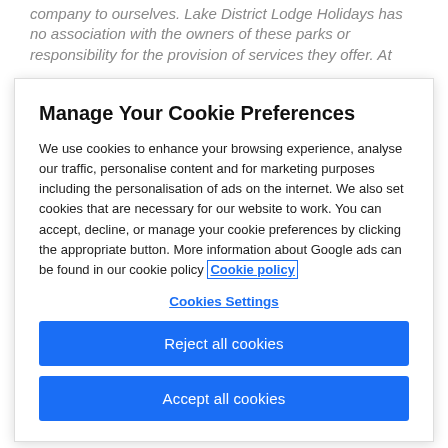company to ourselves. Lake District Lodge Holidays has no association with the owners of these parks or responsibility for the provision of services they offer. At
Manage Your Cookie Preferences
We use cookies to enhance your browsing experience, analyse our traffic, personalise content and for marketing purposes including the personalisation of ads on the internet. We also set cookies that are necessary for our website to work. You can accept, decline, or manage your cookie preferences by clicking the appropriate button. More information about Google ads can be found in our cookie policy Cookie policy
Cookies Settings
Reject all cookies
Accept all cookies